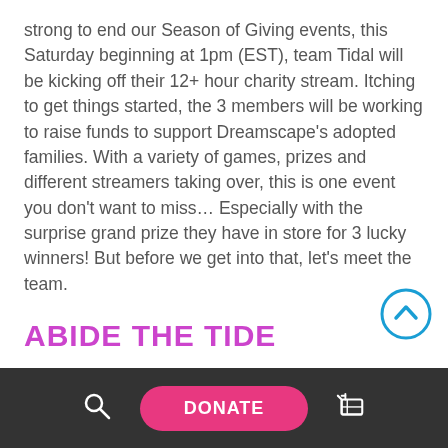strong to end our Season of Giving events, this Saturday beginning at 1pm (EST), team Tidal will be kicking off their 12+ hour charity stream. Itching to get things started, the 3 members will be working to raise funds to support Dreamscape's adopted families. With a variety of games, prizes and different streamers taking over, this is one event you don't want to miss… Especially with the surprise grand prize they have in store for 3 lucky winners! But before we get into that, let's meet the team.
ABIDE THE TIDE
Not just your typical gamers Tyger, Gidjete, Basic Tyez and the rest of their team take things